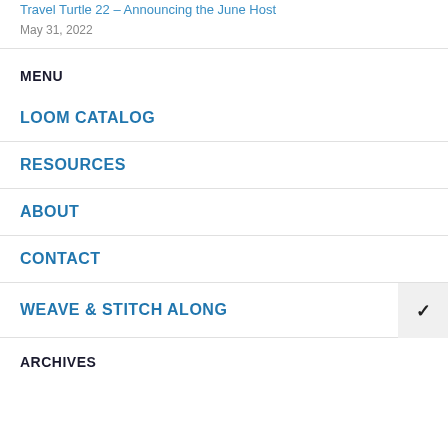Travel Turtle 22 – Announcing the June Host
May 31, 2022
MENU
LOOM CATALOG
RESOURCES
ABOUT
CONTACT
WEAVE & STITCH ALONG
ARCHIVES